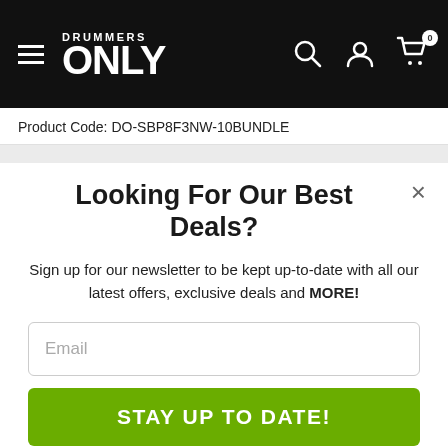DRUMMERS ONLY
Product Code: DO-SBP8F3NW-10BUNDLE
Looking For Our Best Deals?
Sign up for our newsletter to be kept up-to-date with all our latest offers, exclusive deals and MORE!
Email
STAY UP TO DATE!